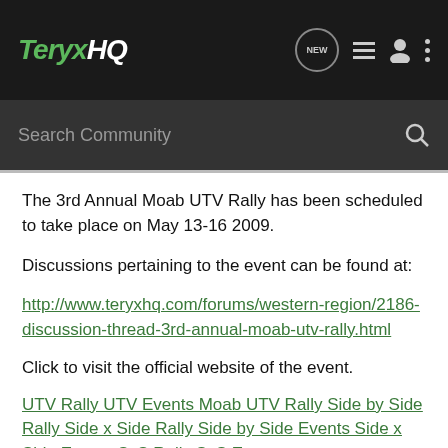TeryxHQ
The 3rd Annual Moab UTV Rally has been scheduled to take place on May 13-16 2009.
Discussions pertaining to the event can be found at:
http://www.teryxhq.com/forums/western-region/2186-discussion-thread-3rd-annual-moab-utv-rally.html
Click to visit the official website of the event.
UTV Rally UTV Events Moab UTV Rally Side by Side Rally Side x Side Rally Side by Side Events Side x Side Events SxS Rally SxS Events
We have scheduled that be an attend the 1st two disc 3 and...